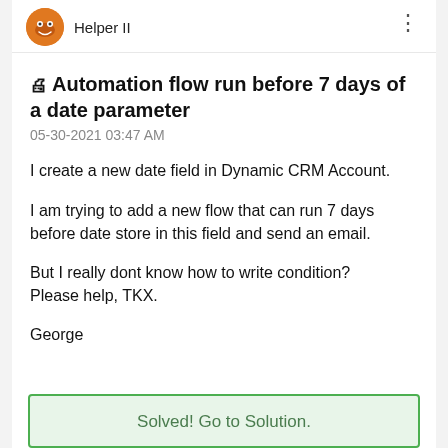Helper II
🖨 Automation flow run before 7 days of a date parameter
05-30-2021 03:47 AM
I create a new date field in Dynamic CRM Account.
I am trying to add a new flow that can run 7 days before date store in this field and send an email.
But I really dont know how to write condition? Please help, TKX.
George
Solved! Go to Solution.